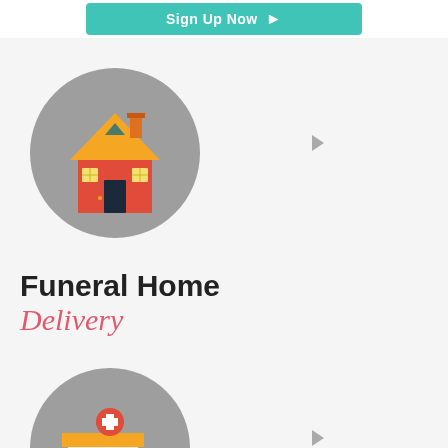[Figure (illustration): Teal/green Sign Up Now button with right arrow at the top of the page]
[Figure (illustration): Gray circle with a flat-design house/funeral home icon (orange roof, red walls, dark door, yellow windows)]
[Figure (illustration): Small right-pointing triangle arrow indicator]
Funeral Home Delivery
[Figure (illustration): Gray circle with a flat-design hospital building icon (blue and red building with medical cross sign)]
[Figure (illustration): Small right-pointing triangle arrow indicator]
[Figure (logo): TrustedSite - Certified Secure badge in bottom right corner]